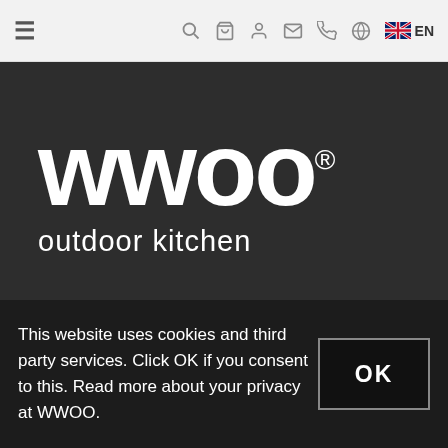☰  🔍  🛒  👤  ✉  📞  🌐  🇬🇧 EN
[Figure (logo): WWOO outdoor kitchen logo — large white bold rounded lettering 'wwoo' with registered trademark symbol, subtitle 'outdoor kitchen' in white on dark grey background]
WWOO Worldwide
Noordervaart 127
This website uses cookies and third party services. Click OK if you consent to this. Read more about your privacy at WWOO.